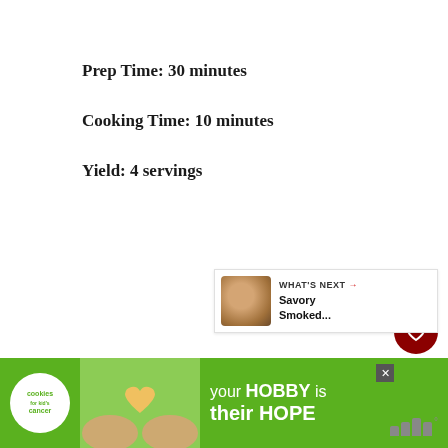Prep Time: 30 minutes
Cooking Time: 10 minutes
Yield: 4 servings
[Figure (other): Heart/like button (dark red circle with heart icon), count '2', and share button (light gray circle with share icon) — social interaction sidebar]
[Figure (other): What's Next panel with thumbnail of food item and text 'WHAT'S NEXT → Savory Smoked...']
[Figure (other): Advertisement banner: 'Cookies for Kid's Cancer' logo, hands holding heart-shaped cookie image, text 'your HOBBY is their HOPE' on green background, with close button and Millennial logo]